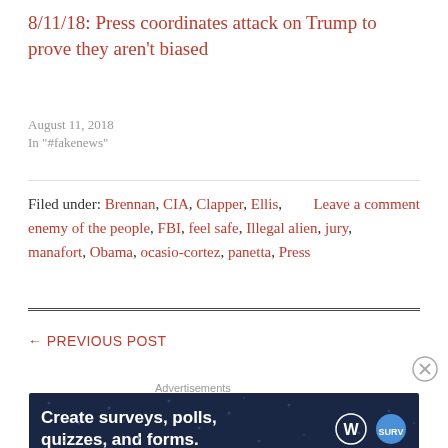8/11/18: Press coordinates attack on Trump to prove they aren't biased
August 11, 2018
In "#fakenews"
Filed under: Brennan, CIA, Clapper, Ellis, enemy of the people, FBI, feel safe, Illegal alien, jury, manafort, Obama, ocasio-cortez, panetta, Press
Leave a comment
← PREVIOUS POST
Advertisements
[Figure (other): Advertisement banner: Create surveys, polls, quizzes, and forms. WordPress and SurveyMonkey logos shown on dark navy background.]